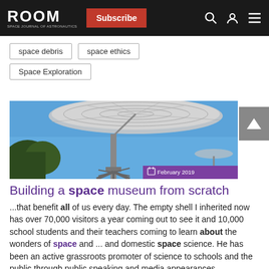ROOM | Subscribe
space debris
space ethics
Space Exploration
[Figure (photo): Radio telescope dish photographed from below against a blue sky, with a purple date badge reading 'February 2019']
Building a space museum from scratch
...that benefit all of us every day. The empty shell I inherited now has over 70,000 visitors a year coming out to see it and 10,000 school students and their teachers coming to learn about the wonders of space and ... and domestic space science. He has been an active grassroots promoter of science to schools and the public through public speaking and media appearances